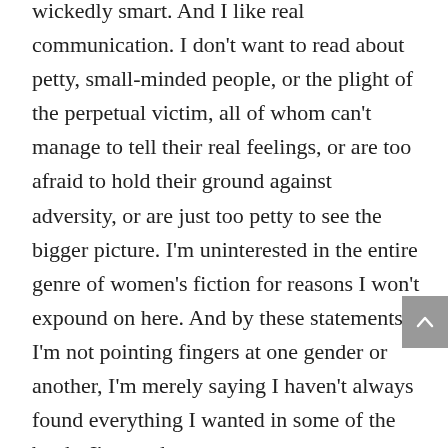wickedly smart. And I like real communication. I don't want to read about petty, small-minded people, or the plight of the perpetual victim, all of whom can't manage to tell their real feelings, or are too afraid to hold their ground against adversity, or are just too petty to see the bigger picture. I'm uninterested in the entire genre of women's fiction for reasons I won't expound on here. And by these statements, I'm not pointing fingers at one gender or another, I'm merely saying I haven't always found everything I wanted in some of the books I've read.